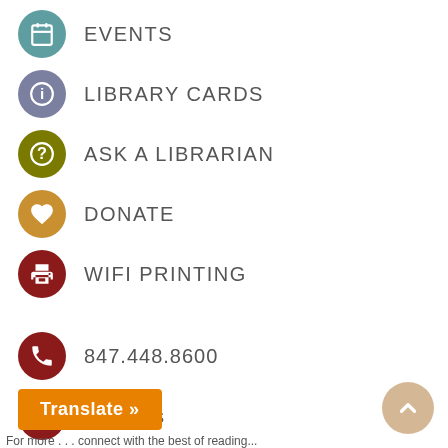EVENTS
LIBRARY CARDS
ASK A LIBRARIAN
DONATE
WIFI PRINTING
847.448.8600
Email Us
CONNECT WITH US
[Figure (infographic): Social media icons: Facebook, Twitter, YouTube, Goodreads]
Translate »
For more connect with the best of reading...